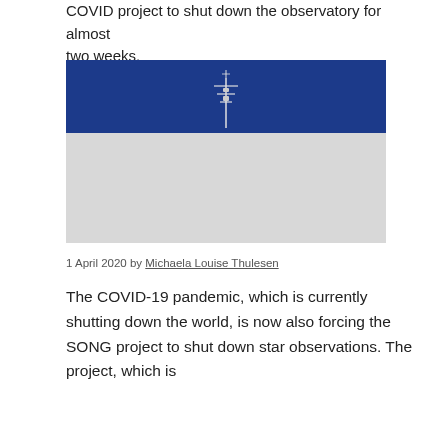COVID project to shut down the observatory for almost two weeks.
[Figure (photo): A weather or astronomical monitoring tower/antenna against a deep blue sky, with a light grey lower portion representing ground or haze.]
1 April 2020 by Michaela Louise Thulesen
The COVID-19 pandemic, which is currently shutting down the world, is now also forcing the SONG project to shut down star observations. The project, which is